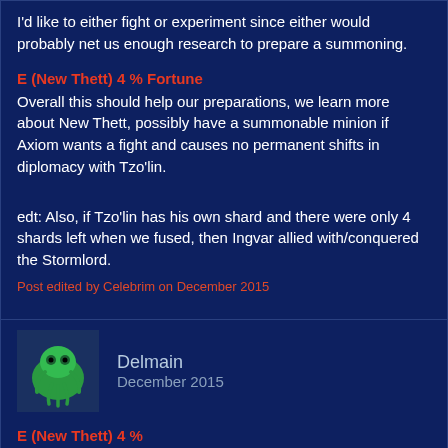I'd like to either fight or experiment since either would probably net us enough research to prepare a summoning.
E (New Thett) 4 % Fortune
Overall this should help our preparations, we learn more about New Thett, possibly have a summonable minion if Axiom wants a fight and causes no permanent shifts in diplomacy with Tzo'lin.
edt: Also, if Tzo'lin has his own shard and there were only 4 shards left when we fused, then Ingvar allied with/conquered the Stormlord.
Post edited by Celebrim on December 2015
Delmain
December 2015
E (New Thett) 4 %
We need to try to find Tzo'lin's shard and take it before he